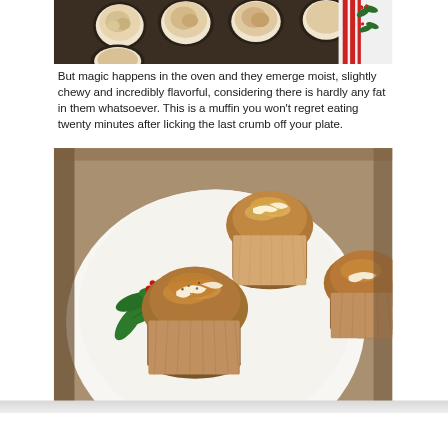[Figure (photo): Overhead view of muffins in a dark muffin tin with white paper liners, batter visible from above, with a red and green striped cloth/napkin visible in the top right corner]
But magic happens in the oven and they emerge moist, slightly chewy and incredibly flavorful, considering there is hardly any fat in them whatsoever. This is a muffin you won't regret eating twenty minutes after licking the last crumb off your plate.
[Figure (photo): Close-up of glazed muffins on a white holiday plate decorated with green holly leaves and red berries. Two muffins are prominently shown with a white glaze drizzled on top, with a partial third muffin visible at the right edge. The muffins have a golden-brown crumble topping.]